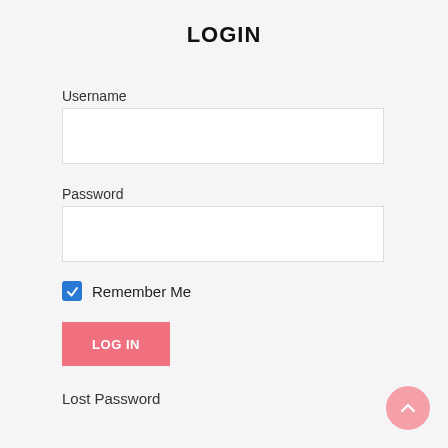LOGIN
Username
Password
Remember Me
LOG IN
Lost Password